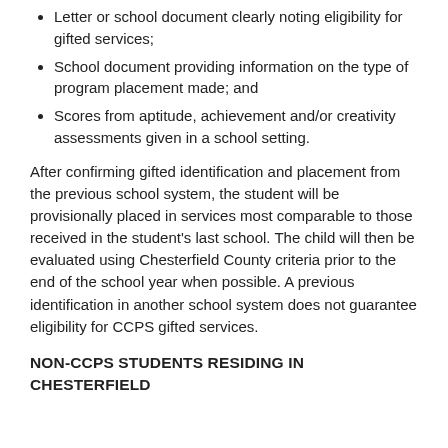Letter or school document clearly noting eligibility for gifted services;
School document providing information on the type of program placement made; and
Scores from aptitude, achievement and/or creativity assessments given in a school setting.
After confirming gifted identification and placement from the previous school system, the student will be provisionally placed in services most comparable to those received in the student's last school. The child will then be evaluated using Chesterfield County criteria prior to the end of the school year when possible. A previous identification in another school system does not guarantee eligibility for CCPS gifted services.
NON-CCPS STUDENTS RESIDING IN CHESTERFIELD